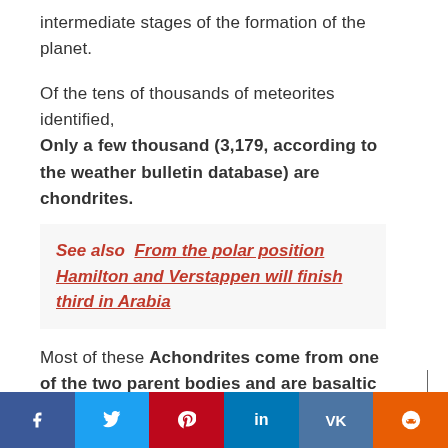intermediate stages of the formation of the planet.
Of the tens of thousands of meteorites identified, Only a few thousand (3,179, according to the weather bulletin database) are chondrites.
See also  From the polar position Hamilton and Verstappen will finish third in Arabia
Most of these Achondrites come from one of the two parent bodies and are basaltic in composition. This means that they cannot say
f  t  p  in  VK  reddit